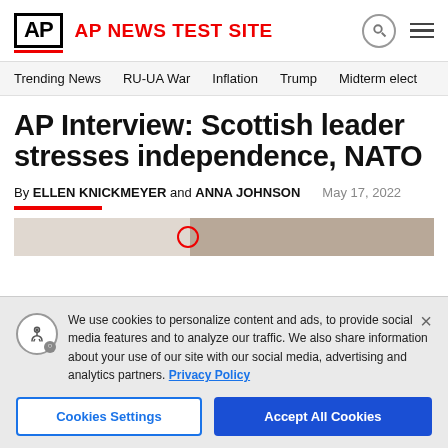AP NEWS TEST SITE
Trending News  RU-UA War  Inflation  Trump  Midterm elect
AP Interview: Scottish leader stresses independence, NATO
By ELLEN KNICKMEYER and ANNA JOHNSON   May 17, 2022
We use cookies to personalize content and ads, to provide social media features and to analyze our traffic. We also share information about your use of our site with our social media, advertising and analytics partners. Privacy Policy
Cookies Settings  Accept All Cookies